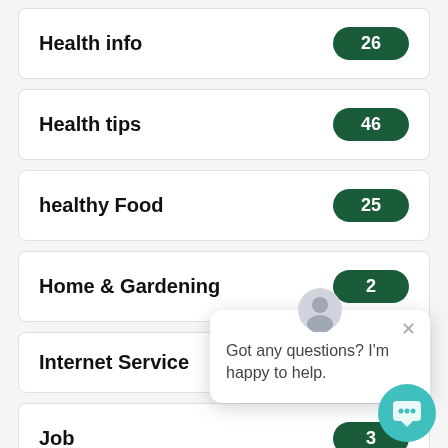Health info — 26
Health tips — 46
healthy Food — 25
Home & Gardening — 2
Internet Service
Job — 3
Laptop
Got any questions? I'm happy to help.